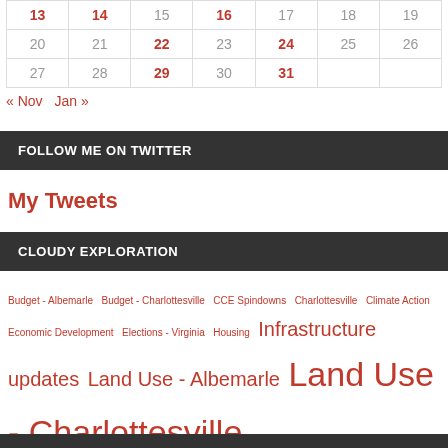| 13 | 14 | 15 | 16 | 17 | 18 | 19 |
| 20 | 21 | 22 | 23 | 24 | 25 | 26 |
| 27 | 28 | 29 | 30 | 31 |  |  |
« Nov   Jan »
FOLLOW ME ON TWITTER
My Tweets
CLOUDY EXPLORATION
Budget - Albemarle  Budget - Charlottesville  CCE Spindowns  Charlottesville  Climate Action  Economic Development  Elections - Virginia  Housing  Infrastructure updates  Land Use - Albemarle  Land Use - Charlottesville  Land Use - University of Virginia  Meeting Reports  Mobility  Personnel  Placemaking  Transit  Uncategorized  Urban Design  Waterways